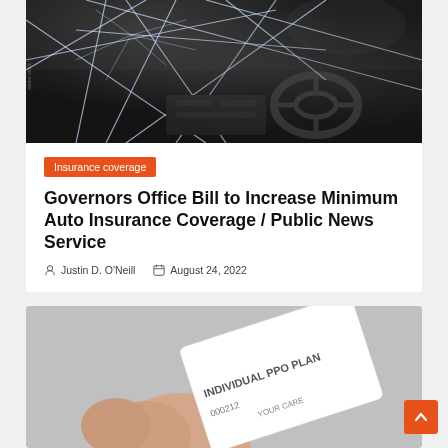[Figure (photo): Photo of a shattered car windshield viewed from inside the vehicle, showing cracked glass and dashboard]
Insurance coverage
Governors Office Bill to Increase Minimum Auto Insurance Coverage / Public News Service
Justin D. O'Neill   August 24, 2022
[Figure (photo): Hand holding an insurance card that reads INDIVIDUAL PPO PLAN]